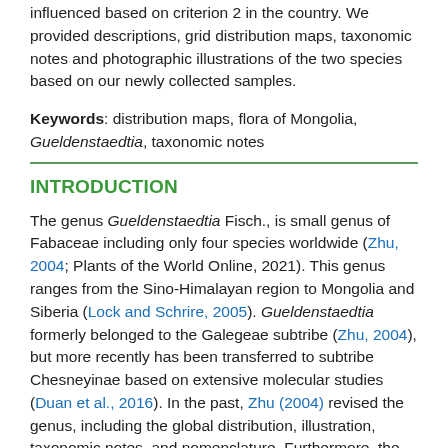influenced based on criterion 2 in the country. We provided descriptions, grid distribution maps, taxonomic notes and photographic illustrations of the two species based on our newly collected samples.
Keywords: distribution maps, flora of Mongolia, Gueldenstaedtia, taxonomic notes
INTRODUCTION
The genus Gueldenstaedtia Fisch., is small genus of Fabaceae including only four species worldwide (Zhu, 2004; Plants of the World Online, 2021). This genus ranges from the Sino-Himalayan region to Mongolia and Siberia (Lock and Schrire, 2005). Gueldenstaedtia formerly belonged to the Galegeae subtribe (Zhu, 2004), but more recently has been transferred to subtribe Chesneyinae based on extensive molecular studies (Duan et al., 2016). In the past, Zhu (2004) revised the genus, including the global distribution, illustration, taxonomic notes, and nomenclature. Furthermore, the pollen and seed morphology of this genus were characterized by Zhu (2005). In general, Gueldenstaedtia is characterized by perennial herbs, tick and woody roots, and flower purple,